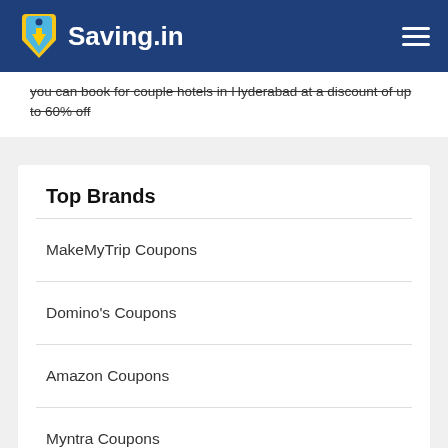Saving.in
you can book for couple hotels in Hyderabad at a discount of up to 60% off
Top Brands
MakeMyTrip Coupons
Domino's Coupons
Amazon Coupons
Myntra Coupons